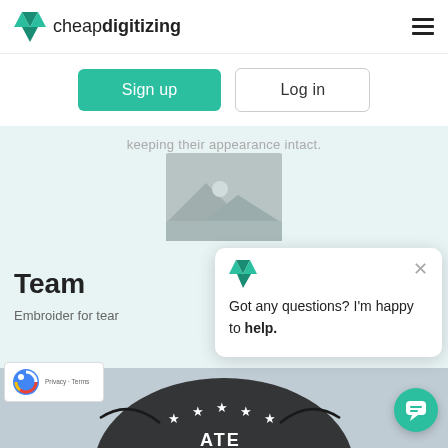cheapdigitizing
Sign up
Log in
keeping their appearance intact.
[Figure (illustration): Gray placeholder image icon with mountain silhouette and sun/circle]
Team
Embroider for tear
[Figure (screenshot): Chat popup with cheapdigitizing logo icon and close button, message: Got any questions? I'm happy to help.]
[Figure (logo): reCAPTCHA badge with Privacy and Terms links]
[Figure (photo): Bottom portion of embroidered patch showing stars and text on dark fabric]
[Figure (other): Teal circular chat support button with speech bubble icon]